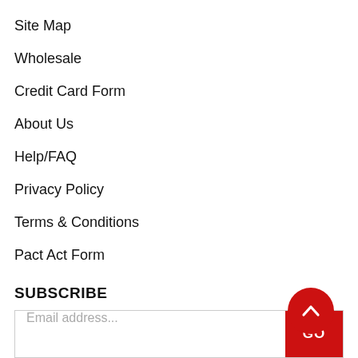Site Map
Wholesale
Credit Card Form
About Us
Help/FAQ
Privacy Policy
Terms & Conditions
Pact Act Form
SUBSCRIBE
Email address...